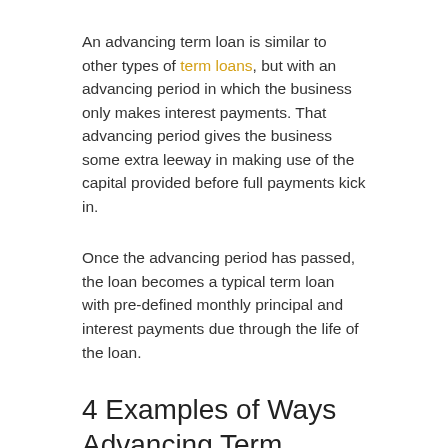An advancing term loan is similar to other types of term loans, but with an advancing period in which the business only makes interest payments. That advancing period gives the business some extra leeway in making use of the capital provided before full payments kick in.
Once the advancing period has passed, the loan becomes a typical term loan with pre-defined monthly principal and interest payments due through the life of the loan.
4 Examples of Ways Advancing Term Loans